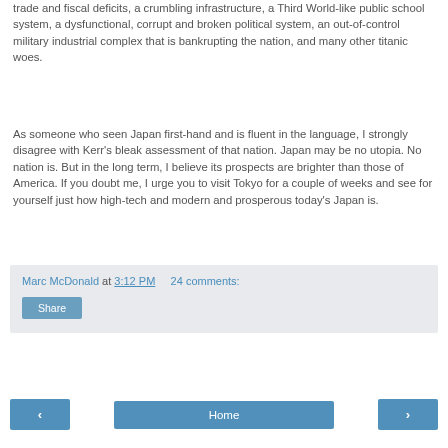trade and fiscal deficits, a crumbling infrastructure, a Third World-like public school system, a dysfunctional, corrupt and broken political system, an out-of-control military industrial complex that is bankrupting the nation, and many other titanic woes.
As someone who seen Japan first-hand and is fluent in the language, I strongly disagree with Kerr's bleak assessment of that nation. Japan may be no utopia. No nation is. But in the long term, I believe its prospects are brighter than those of America. If you doubt me, I urge you to visit Tokyo for a couple of weeks and see for yourself just how high-tech and modern and prosperous today's Japan is.
Marc McDonald at 3:12 PM   24 comments:
Share
‹
Home
›